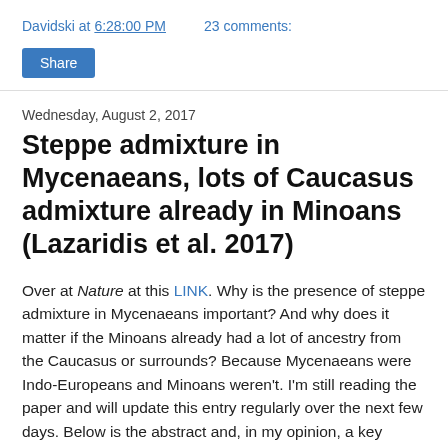Davidski at 6:28:00 PM   23 comments:
Share
Wednesday, August 2, 2017
Steppe admixture in Mycenaeans, lots of Caucasus admixture already in Minoans (Lazaridis et al. 2017)
Over at Nature at this LINK. Why is the presence of steppe admixture in Mycenaeans important? And why does it matter if the Minoans already had a lot of ancestry from the Caucasus or surrounds? Because Mycenaeans were Indo-Europeans and Minoans weren't. I'm still reading the paper and will update this entry regularly over the next few days. Below is the abstract and, in my opinion, a key quote. Emphasis is mine.